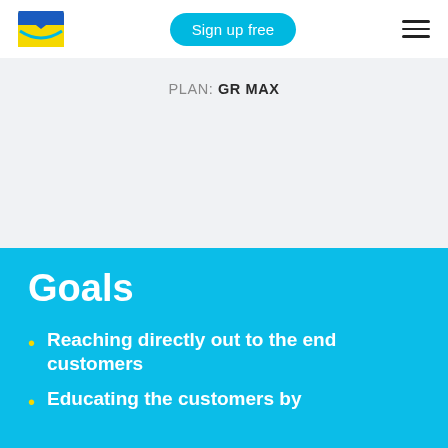Sign up free
PLAN: GR MAX
Goals
Reaching directly out to the end customers
Educating the customers by